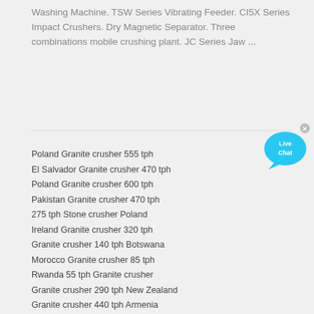Washing Machine. TSW Series Vibrating Feeder. CI5X Series Impact Crushers. Dry Magnetic Separator. Three combinations mobile crushing plant. JC Series Jaw ...
[Figure (other): Live Chat button - a cyan/blue speech bubble with 'Live Chat' text and a close X button]
Poland Granite crusher 555 tph
El Salvador Granite crusher 470 tph
Poland Granite crusher 600 tph
Pakistan Granite crusher 470 tph
275 tph Stone crusher Poland
Ireland Granite crusher 320 tph
Granite crusher 140 tph Botswana
Morocco Granite crusher 85 tph
Rwanda 55 tph Granite crusher
Granite crusher 290 tph New Zealand
Granite crusher 440 tph Armenia
Poland 110 tph Mobile cone crusher